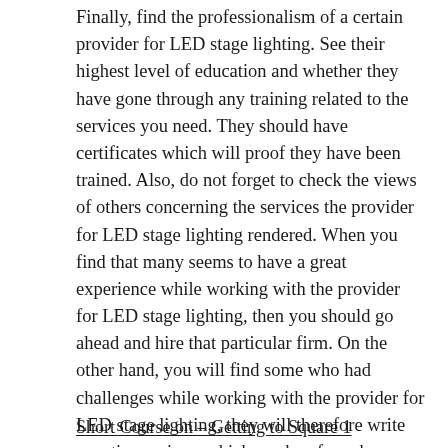Finally, find the professionalism of a certain provider for LED stage lighting. See their highest level of education and whether they have gone through any training related to the services you need. They should have certificates which will proof they have been trained. Also, do not forget to check the views of others concerning the services the provider for LED stage lighting rendered. When you find that many seems to have a great experience while working with the provider for LED stage lighting, then you should go ahead and hire that particular firm. On the other hand, you will find some who had challenges while working with the provider for LED stage lighting, they will therefore write negative reviews which can be of much use when it comes to finding the reputation of a certain provider for LED stage lighting.
Short Course on – Getting to Square 1